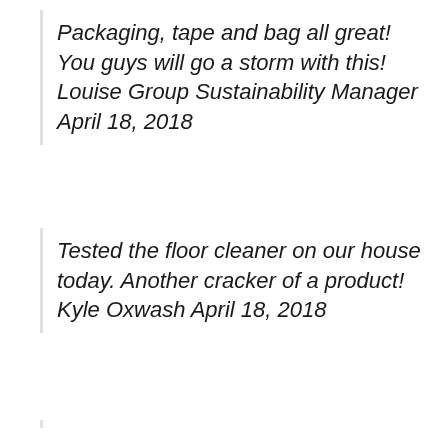Packaging, tape and bag all great! You guys will go a storm with this! Louise Group Sustainability Manager April 18, 2018
Tested the floor cleaner on our house today. Another cracker of a product! Kyle Oxwash April 18, 2018